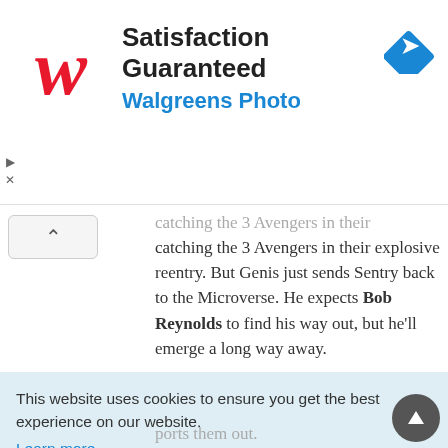[Figure (screenshot): Walgreens Photo advertisement banner with logo, text 'Satisfaction Guaranteed' and 'Walgreens Photo', and a blue diamond navigation icon]
catching the 3 Avengers in their explosive reentry. But Genis just sends Sentry back to the Microverse. He expects Bob Reynolds to find his way out, but he'll emerge a long way away.
This website uses cookies to ensure you get the best experience on our website.
Learn more
Got it!
ports them out.